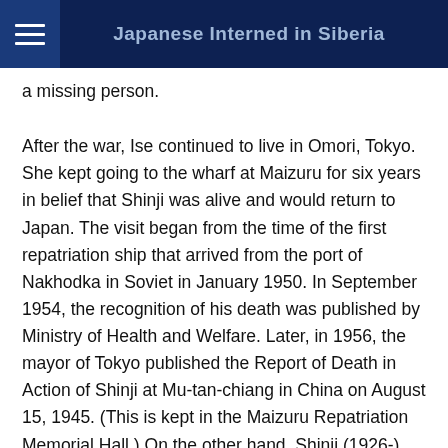Japanese Interned in Siberia
a missing person.
After the war, Ise continued to live in Omori, Tokyo. She kept going to the wharf at Maizuru for six years in belief that Shinji was alive and would return to Japan. The visit began from the time of the first repatriation ship that arrived from the port of Nakhodka in Soviet in January 1950. In September 1954, the recognition of his death was published by Ministry of Health and Welfare. Later, in 1956, the mayor of Tokyo published the Report of Death in Action of Shinji at Mu-tan-chiang in China on August 15, 1945. (This is kept in the Maizuru Repatriation Memorial Hall.) On the other hand, Shinji (1926-), the son who his mother was waiting for, has been reported to be alive after the war. It was found out in August, 2000. He was